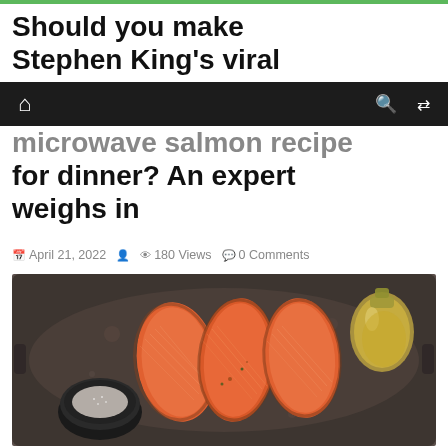Should you make Stephen King's viral microwave salmon recipe for dinner? An expert weighs in
Home | Search | Shuffle
April 21, 2022   180 Views   0 Comments
[Figure (photo): Three raw salmon fillets seasoned with herbs on a dark metal baking tray, with a small bowl of salt and a glass bottle of oil]